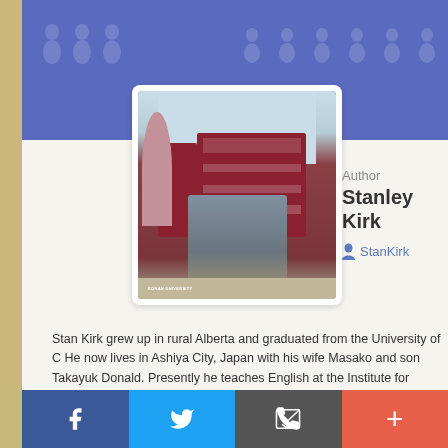[Figure (photo): Author profile photo of Stanley Kirk standing in front of Konan University sign in Japan]
Author
Stanley Kirk
StanKirk
Stan Kirk grew up in rural Alberta and graduated from the University of C... He now lives in Ashiya City, Japan with his wife Masako and son Takayuk... Donald. Presently he teaches English at the Institute for Language and C... at Konan University in Kobe. Recently Stan has been researching and w... the life histories of Japanese Canadians who were exiled to Japan at the... World War II.
Updated April 2018
f  [Twitter]  [Email]  +